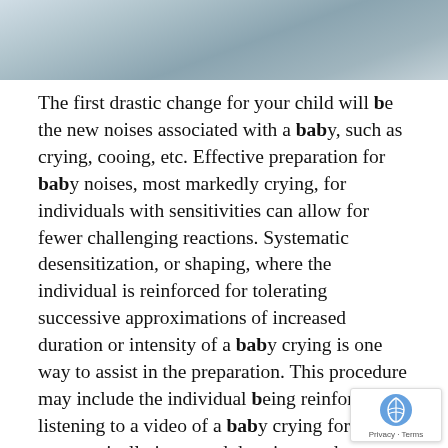[Figure (photo): Partial photo at top of page, appears to show a baby or infant, black and white tones]
The first drastic change for your child will be the new noises associated with a baby, such as crying, cooing, etc. Effective preparation for baby noises, most markedly crying, for individuals with sensitivities can allow for fewer challenging reactions. Systematic desensitization, or shaping, where the individual is reinforced for tolerating successive approximations of increased duration or intensity of a baby crying is one way to assist in the preparation. This procedure may include the individual being reinforced for listening to a video of a baby crying for systematically increased durations and volumes. Upon meeting a predetermined criterion (e.g., listening for five minutes, at volume three, across ten days), the individual would be expected to for a progressively increased duration and/or volume